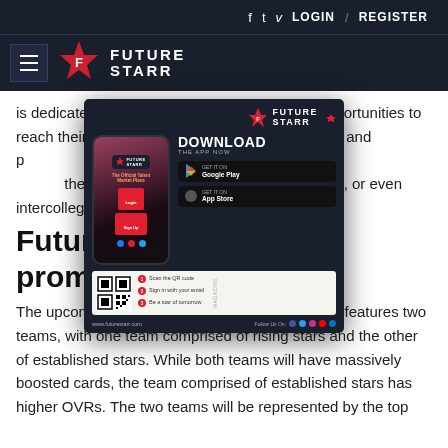f  t  v  LOGIN  /  REGISTER
[Figure (logo): FutureStarr logo with hamburger menu, star icon, and FUTURE STARR text on dark navy background]
is dedicated to providing inner-city youth with opportunities to reach their full po... with financial awareness and p... elated resources. Its goal is to help ... their dreams of learning compute... ce, or even intercollegiate sp...
[Figure (screenshot): FutureStarr app download popup showing phone mockup, DOWNLOAD THE APP NOW text, Google Play and App Store buttons, QR code, steps to scan, and www.futurestarr.com URL]
Future S... eam promo
The upcoming Future Stars promotion in FIFA 19 features two teams, with one team comprised of rising stars and the other of established stars. While both teams will have massively boosted cards, the team comprised of established stars has higher OVRs. The two teams will be represented by the top